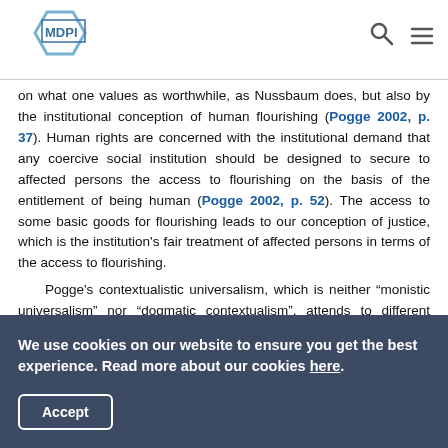MDPI [logo] with search and menu icons
on what one values as worthwhile, as Nussbaum does, but also by the institutional conception of human flourishing (Pogge 2002, p. 37). Human rights are concerned with the institutional demand that any coercive social institution should be designed to secure to affected persons the access to flourishing on the basis of the entitlement of being human (Pogge 2002, p. 52). The access to some basic goods for flourishing leads to our conception of justice, which is the institution's fair treatment of affected persons in terms of the access to flourishing.
Pogge's contextualistic universalism, which is neither "monistic universalism" nor "dogmatic contextualism", attends to different moral conceptions and justifications in different
We use cookies on our website to ensure you get the best experience. Read more about our cookies here.
Accept